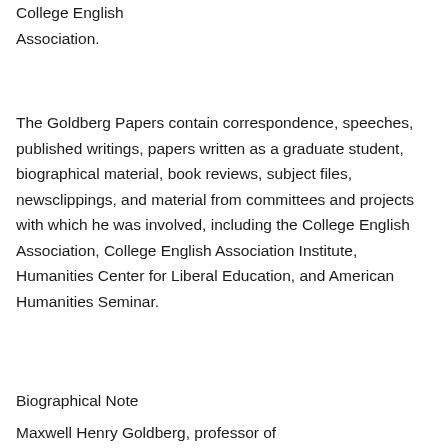College English Association.
The Goldberg Papers contain correspondence, speeches, published writings, papers written as a graduate student, biographical material, book reviews, subject files, newsclippings, and material from committees and projects with which he was involved, including the College English Association, College English Association Institute, Humanities Center for Liberal Education, and American Humanities Seminar.
Biographical Note
Maxwell Henry Goldberg, professor of